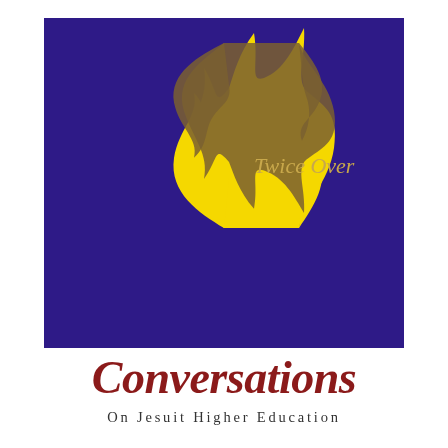[Figure (logo): Purple/dark blue square with a yellow flame icon above a gold reflected flame (Jesuit IHS style), with italic gold text 'Twice Over' to the right of the flame]
Conversations
On Jesuit Higher Education